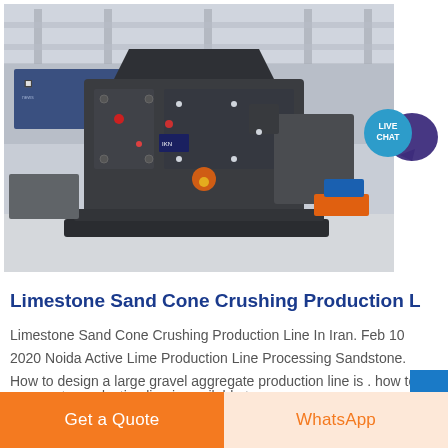[Figure (photo): Industrial limestone sand cone crushing machine on factory floor, large dark metallic crushing equipment in a warehouse setting]
Limestone Sand Cone Crushing Production L
Limestone Sand Cone Crushing Production Line In Iran. Feb 10 2020 Noida Active Lime Production Line Processing Sandstone. How to design a large gravel aggregate production line is . how to design a large aggregate production line is available to
Get a Quote
WhatsApp